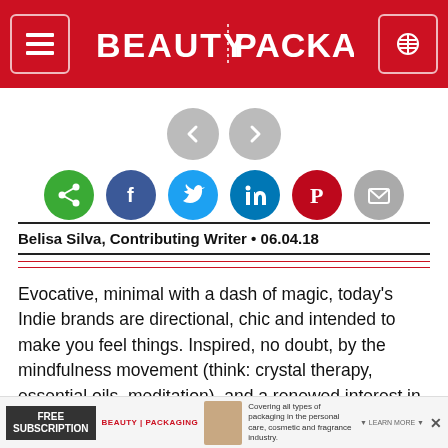BEAUTY PACKAGING
[Figure (other): Navigation arrows (previous/next) and social sharing icons: share (green), Facebook (blue), Twitter (light blue), LinkedIn (blue), Pinterest (red), email (gray)]
Belisa Silva, Contributing Writer • 06.04.18
Evocative, minimal with a dash of magic, today's Indie brands are directional, chic and intended to make you feel things. Inspired, no doubt, by the mindfulness movement (think: crystal therapy, essential oils, meditation), and a renewed interest in time-honored practices, the modern Indie market is experiencing a decidedly anti-trend
[Figure (other): Advertisement banner for Beauty Packaging free subscription at bottom of page]